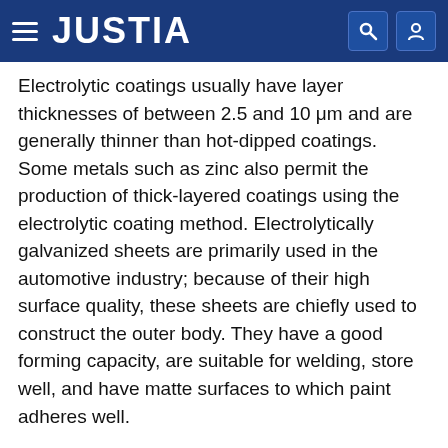JUSTIA
Electrolytic coatings usually have layer thicknesses of between 2.5 and 10 μm and are generally thinner than hot-dipped coatings. Some metals such as zinc also permit the production of thick-layered coatings using the electrolytic coating method. Electrolytically galvanized sheets are primarily used in the automotive industry; because of their high surface quality, these sheets are chiefly used to construct the outer body. They have a good forming capacity, are suitable for welding, store well, and have matte surfaces to which paint adheres well.
Particularly in the automotive field, there is a constant push toward ever lighter raw vehicle bodies. On the one hand, this is because lighter vehicles consume less fuel; on the other hand, raw vehicle bodies need to be lighter in order to offset the weight of the ever more numerous